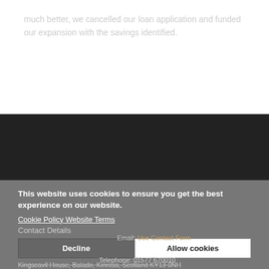much better, we cancelled our loan application and funded our expansion with the savings identified.
[Figure (infographic): Social media follow us section with Twitter, Facebook, and LinkedIn icons on dark background. Text: Find Us/Follow Us]
This website uses cookies to ensure you get the best experience on our website.
Cookie Policy Website Terms
Contact Details
Decline
Allow cookies
Kingscavil House, Balado, Kinross, Scotland KY13 0NH
Cookie settings: Necessary | Preferences
Email: Use Contact Form
Telephone: 01577 670010